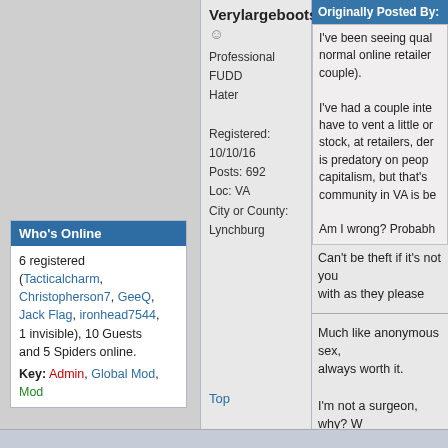Who's Online
6 registered (Tacticalcharm, Christopherson7, GeeQ, Jack Flag, ironhead7544, 1 invisible), 10 Guests and 5 Spiders online.
Key: Admin, Global Mod, Mod
Verylargeboots
Professional FUDD Hater
Registered: 10/10/16
Posts: 692
Loc: VA
City or County: Lynchburg
Originally Posted By:
I've been seeing qual normal online retailer couple).
I've had a couple inte have to vent a little on stock, at retailers, den is predatory on peoph capitalism, but that's community in VA is be
Am I wrong? Probabh
Can't be theft if it's not you with as they please
Much like anonymous sex, always worth it.
I'm not a surgeon, why? W
Everyone takes a beating s
Top